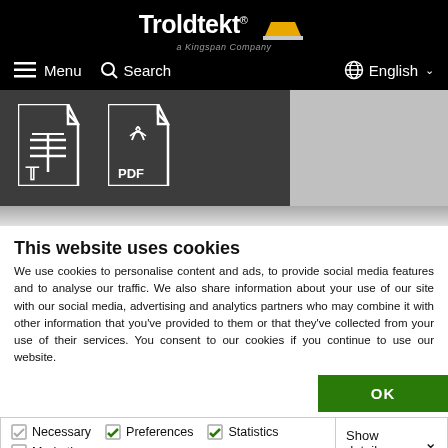Troldtekt® a Kingspan Company — Menu | Search | English
[Figure (screenshot): Dark banner area with two file icons: a text document icon and a PDF file icon]
This website uses cookies
We use cookies to personalise content and ads, to provide social media features and to analyse our traffic. We also share information about your use of our site with our social media, advertising and analytics partners who may combine it with other information that you've provided to them or that they've collected from your use of their services. You consent to our cookies if you continue to use our website.
OK
Necessary | Preferences | Statistics | Marketing | Show details